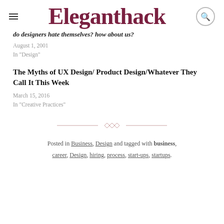Eleganthack
do designers hate themselves? how about us?
August 1, 2001
In "Design"
The Myths of UX Design/ Product Design/Whatever They Call It This Week
March 15, 2016
In "Creative Practices"
[Figure (other): Decorative divider with diamond shapes and horizontal lines]
Posted in Business, Design and tagged with business, career, Design, hiring, process, start-ups, startups.